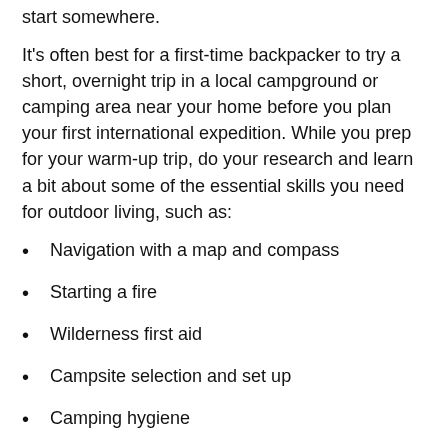start somewhere.
It's often best for a first-time backpacker to try a short, overnight trip in a local campground or camping area near your home before you plan your first international expedition. While you prep for your warm-up trip, do your research and learn a bit about some of the essential skills you need for outdoor living, such as:
Navigation with a map and compass
Starting a fire
Wilderness first aid
Campsite selection and set up
Camping hygiene
General safety and outdoor hazards
Then, on your first few trips, you can try to put your newfound skills into practice to see where you still have room for improvement. Remember, practice makes perfect, so getting these skills dialed before you leave on a big trekking trip is